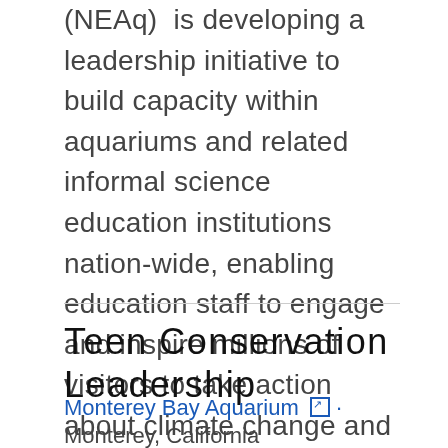(NEAq)  is developing a leadership initiative to build capacity within aquariums and related informal science education institutions nation-wide, enabling education staff to engage and inspire millions of visitors to take action about climate change and the ocean.
Show More ▼
Teen Conservation Leadership
Monterey Bay Aquarium · Monterey, California
Funding: $453,622